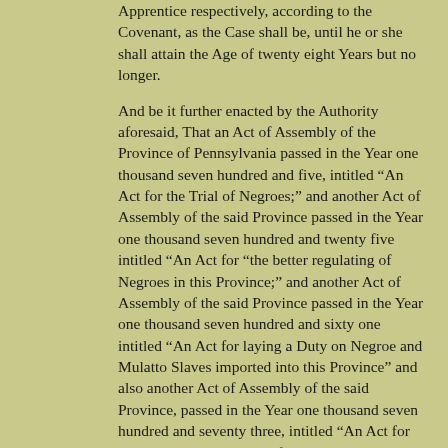Apprentice respectively, according to the Covenant, as the Case shall be, until he or she shall attain the Age of twenty eight Years but no longer.

And be it further enacted by the Authority aforesaid, That an Act of Assembly of the Province of Pennsylvania passed in the Year one thousand seven hundred and five, intitled "An Act for the Trial of Negroes;" and another Act of Assembly of the said Province passed in the Year one thousand seven hundred and twenty five intitled "An Act for "the better regulating of Negroes in this Province;" and another Act of Assembly of the said Province passed in the Year one thousand seven hundred and sixty one intitled "An Act for laying a Duty on Negroe and Mulatto Slaves imported into this Province" and also another Act of Assembly of the said Province, passed in the Year one thousand seven hundred and seventy three, intitled "An Act for making perpetual An Act for laying a duty on Negroe and Mulatto "Slaves imported into this Province and for laying an additional "Duty on said Slaves;" shall be and are hereby